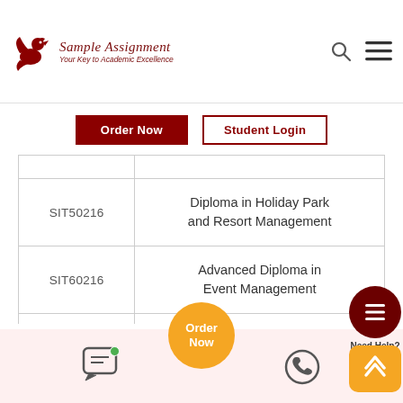[Figure (logo): Sample Assignment logo with bird graphic, title 'Sample Assignment' and tagline 'Your Key to Academic Excellence']
| Code | Course Name |
| --- | --- |
|  |  |
| SIT50216 | Diploma in Holiday Park and Resort Management |
| SIT60216 | Advanced Diploma in Event Management |
| SIT50116 | Diploma in Travel and Tourism Management |
[Figure (screenshot): Order Now orange circle button and footer with chat and phone icons]